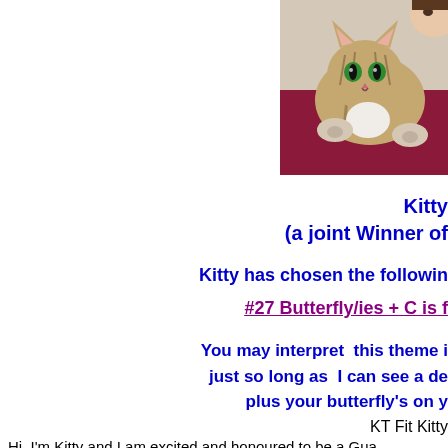[Figure (photo): A tabby cat held by a person wearing a red/maroon top, with the cat's green eyes visible and white paws. The image is cropped at the right edge of the page.]
Kitty
(a joint Winner of
Kitty has chosen the followin
#27 Butterfly/ies + C is f
You may interpret  this theme i
just so long as  I can see a de
plus your butterfly's on y
KT Fit Kitty
Hi, I'm Kitty and I am excited and honoured to be a Gua